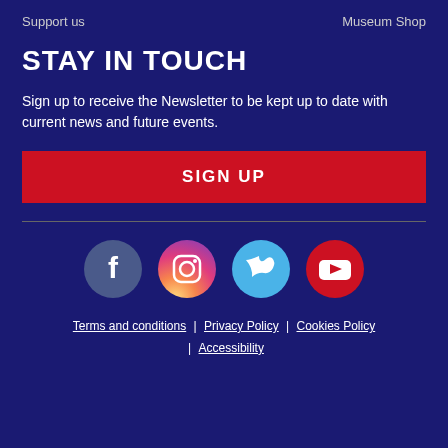Support us    Museum Shop
STAY IN TOUCH
Sign up to receive the Newsletter to be kept up to date with current news and future events.
SIGN UP
[Figure (illustration): Four social media icons in circles: Facebook (dark blue), Instagram (gradient pink/purple/orange), Twitter (light blue), YouTube (red)]
Terms and conditions | Privacy Policy | Cookies Policy | Accessibility